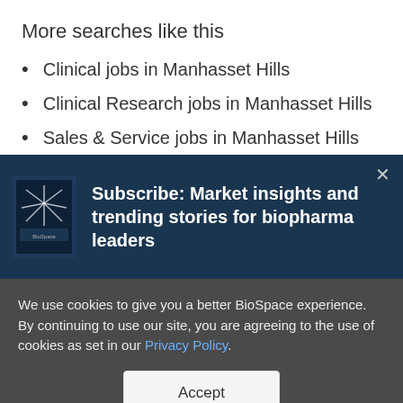More searches like this
Clinical jobs in Manhasset Hills
Clinical Research jobs in Manhasset Hills
Sales & Service jobs in Manhasset Hills
[Figure (infographic): Dark blue subscription banner with a phone image showing 'Subscribe: Market insights and trending stories for biopharma leaders' and a close (×) button]
We use cookies to give you a better BioSpace experience. By continuing to use our site, you are agreeing to the use of cookies as set in our Privacy Policy.
Accept